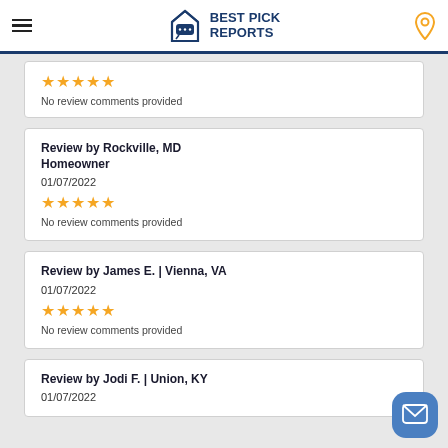Best Pick Reports
No review comments provided
Review by Rockville, MD Homeowner
01/07/2022
No review comments provided
Review by James E. | Vienna, VA
01/07/2022
No review comments provided
Review by Jodi F. | Union, KY
01/07/2022